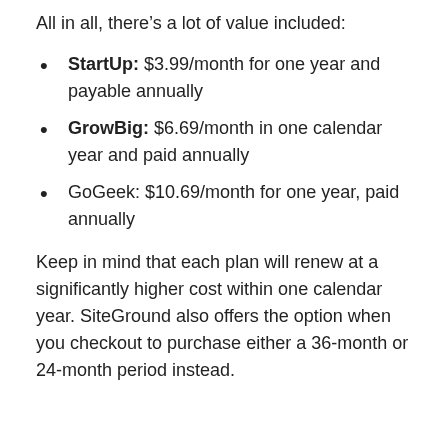All in all, there's a lot of value included:
StartUp: $3.99/month for one year and payable annually
GrowBig: $6.69/month in one calendar year and paid annually
GoGeek: $10.69/month for one year, paid annually
Keep in mind that each plan will renew at a significantly higher cost within one calendar year. SiteGround also offers the option when you checkout to purchase either a 36-month or 24-month period instead.